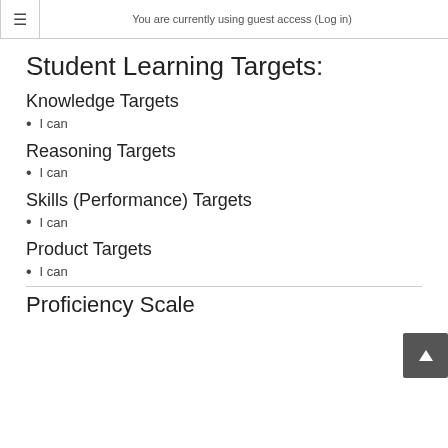≡  You are currently using guest access (Log in)
Student Learning Targets:
Knowledge Targets
I can
Reasoning Targets
I can
Skills (Performance) Targets
I can
Product Targets
I can
Proficiency Scale